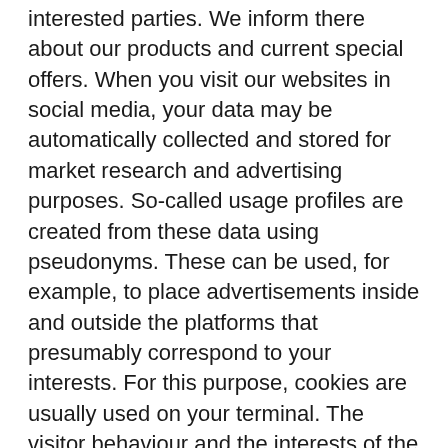interested parties. We inform there about our products and current special offers. When you visit our websites in social media, your data may be automatically collected and stored for market research and advertising purposes. So-called usage profiles are created from these data using pseudonyms. These can be used, for example, to place advertisements inside and outside the platforms that presumably correspond to your interests. For this purpose, cookies are usually used on your terminal. The visitor behaviour and the interests of the users are stored in these cookies.
This serves in accordance with Art. 6 para. 1 lit. f GDPR to protect our legitimate interests